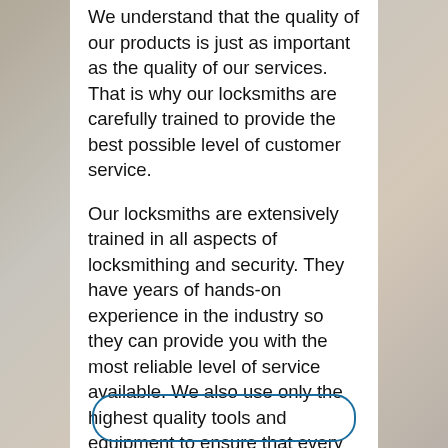We understand that the quality of our products is just as important as the quality of our services. That is why our locksmiths are carefully trained to provide the best possible level of customer service.
Our locksmiths are extensively trained in all aspects of locksmithing and security. They have years of hands-on experience in the industry so they can provide you with the most reliable level of service available. We also use only the highest quality tools and equipment to ensure that every job is completed safely. We service the greater SeaTac Washington area.